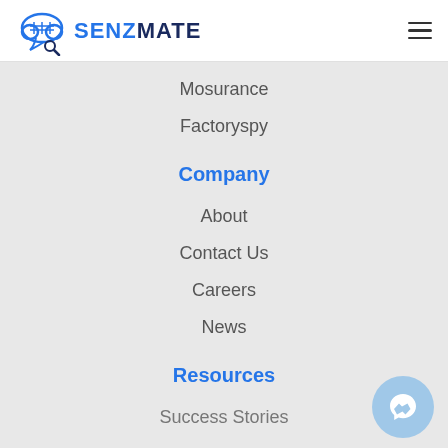SENZMATE
Mosurance
Factoryspy
Company
About
Contact Us
Careers
News
Resources
Success Stories